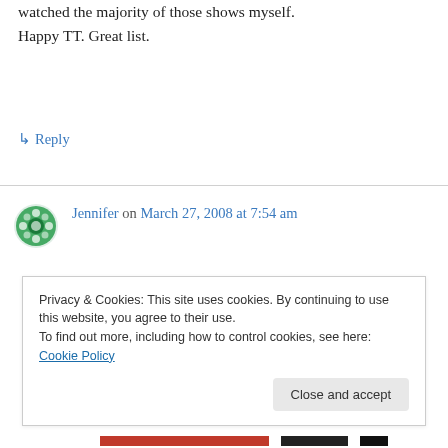watched the majority of those shows myself. Happy TT. Great list.
↳ Reply
Jennifer on March 27, 2008 at 7:54 am
Great list!!! I loved Saturday Night Live (Telegram…. candy gram… land shark!) I also watched Emergency, The Brady Bunch and Lost in Space religiously. I was always envious of Penny. I wanted hair just like hers!
Privacy & Cookies: This site uses cookies. By continuing to use this website, you agree to their use. To find out more, including how to control cookies, see here: Cookie Policy
Close and accept